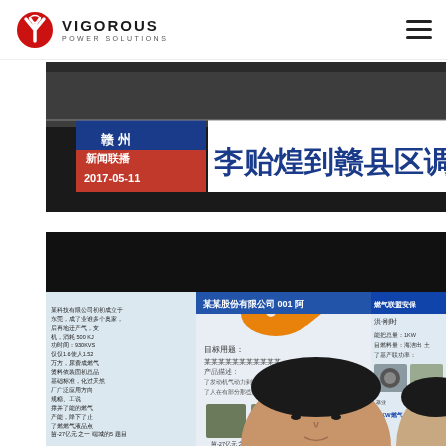VIGOROUS POWER SOLUTIONS
[Figure (photo): TV news screenshot showing Chinese news broadcast with text '赣州 新闻联播 2017-05-11' and large Chinese characters '李贻煌到赣县区调研中']
[Figure (photo): Video screenshot showing a presentation or exhibition display with Chinese product information text, company branding with orange/red fish logo, product images including generators and equipment, and a person's face in the foreground]